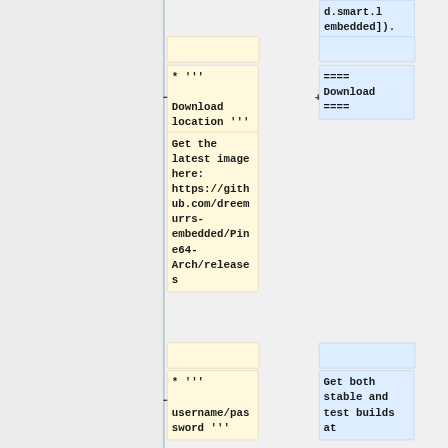embedded]).
* '''
Download location '''
====
Download
====
Get the latest image here:
https://github.com/dreemurrs-embedded/Pine64-Arch/releases
* '''
username/password '''
Get both stable and test builds at